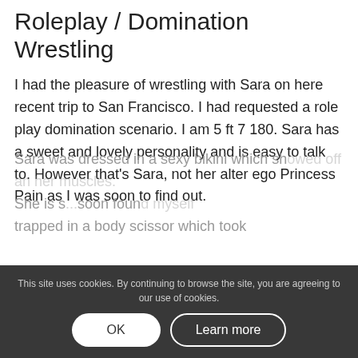Roleplay / Domination Wrestling
I had the pleasure of wrestling with Sara on here recent trip to San Francisco. I had requested a role play domination scenario. I am 5 ft 7 180. Sara has a sweet and lovely personality and is easy to talk to. However that's Sara, not her alter ego Princess Pain as I was soon to find out.
Sara was dressed in a sexy bikini which showed off an her muscles. She is s...soon found myself trapped in a body scissor which took
This site uses cookies. By continuing to browse the site, you are agreeing to our use of cookies.